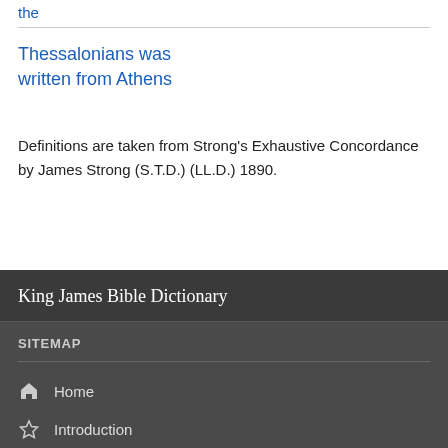the
Thessalonians was written from Athens
Definitions are taken from Strong's Exhaustive Concordance by James Strong (S.T.D.) (LL.D.) 1890.
King James Bible Dictionary
SITEMAP
Home
Introduction